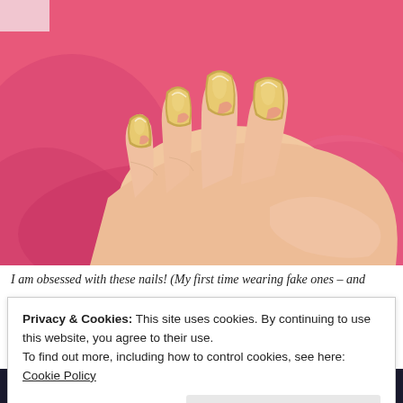[Figure (photo): Close-up photo of a hand with shiny gold/metallic mirror-finish fake nails, resting on a bright pink fabric background.]
I am obsessed with these nails! (My first time wearing fake ones – and
Privacy & Cookies: This site uses cookies. By continuing to use this website, you agree to their use.
To find out more, including how to control cookies, see here: Cookie Policy
Close and accept
we all have them.